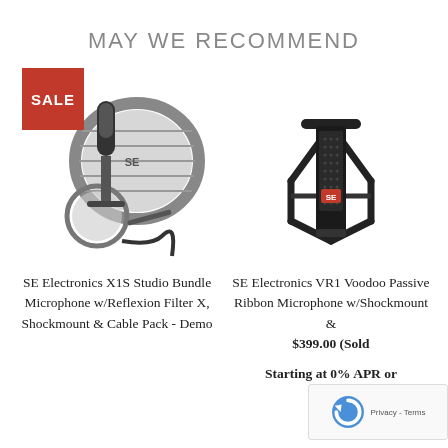MAY WE RECOMMEND
[Figure (photo): SE Electronics X1S Studio Bundle microphone with Reflexion Filter X, shockmount, pop filter, and cable pack - Demo product image with red SALE badge]
[Figure (photo): SE Electronics VR1 Voodoo Passive Ribbon Microphone with shockmount, mounted in black spider mount]
SE Electronics X1S Studio Bundle Microphone w/Reflexion Filter X, Shockmount & Cable Pack - Demo
SE Electronics VR1 Voodoo Passive Ribbon Microphone w/Shockmount &
$399.00 (Sold
Starting at 0% APR or